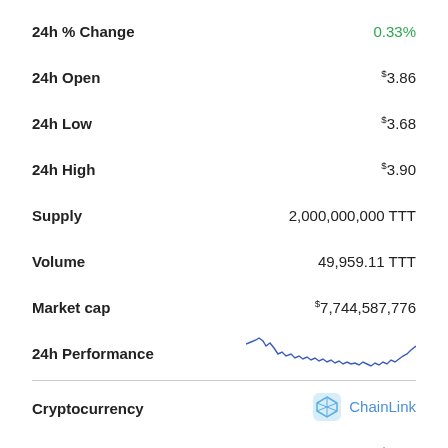| Metric | Value |
| --- | --- |
| 24h % Change | 0.33% |
| 24h Open | $3.86 |
| 24h Low | $3.68 |
| 24h High | $3.90 |
| Supply | 2,000,000,000 TTT |
| Volume | 49,959.11 TTT |
| Market cap | $7,744,587,776 |
| 24h Performance | (line chart) |
| Cryptocurrency | ChainLink |
| Price | $7.04 |
[Figure (line-chart): A small inline sparkline chart showing 24-hour price performance with a wavy blue line, generally declining then recovering slightly at the right end.]